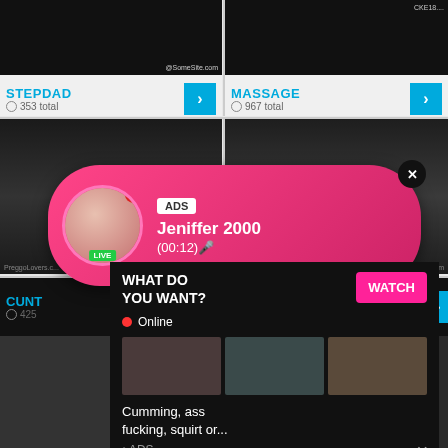[Figure (screenshot): Adult video category thumbnail grid - STEPDAD category with video thumbnails]
STEPDAD
353 total
[Figure (screenshot): Adult video category thumbnail - MASSAGE category]
MASSAGE
967 total
[Figure (screenshot): Adult video thumbnail grid middle row left]
[Figure (screenshot): Adult video thumbnail grid middle row right]
[Figure (infographic): Live cam ad overlay - ADS Jeniffer 2000 (00:12) with pink gradient background, LIVE badge, close button]
ADS
Jeniffer 2000
(00:12)🎤
LIVE
CUNT
425
CHUBBY
[Figure (screenshot): Bottom ad overlay - WHAT DO YOU WANT? with WATCH button, Online indicator, thumbnail images, text: Cumming, ass fucking, squirt or... • ADS]
WHAT DO YOU WANT?
WATCH
Online
Cumming, ass fucking, squirt or...
• ADS